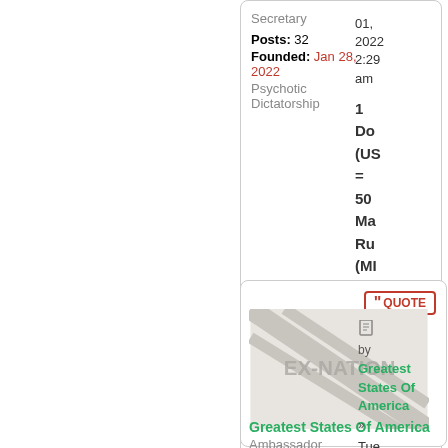Secretary
Posts: 32
Founded: Jan 28, 2022
Psychotic Dictatorship
01, 2022 2:29 am
1 Do (US = 50 Ma Ru (MI
[Figure (illustration): EX-NATION flag placeholder image with diagonal stripes and EX-NATION watermark text]
QUOTE
by Greatest States Of America » Tue Feb 01, 2022 2:42 am
We I'm
Greatest States Of America
Ambassador
Posts: 1339
Founded: Nov 10, 2020
Ex-Nation